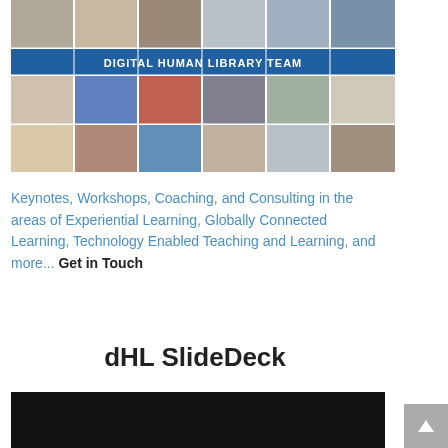[Figure (photo): Grid of headshot photos of the Digital Human Library Team members, with a blue banner in the middle reading 'DIGITAL HUMAN LIBRARY TEAM'. Two rows of 6 portrait photos above and below the banner.]
Keynotes, Workshops, Coaching, and Consulting in the areas of Experiential Learning, Globally Connected Learning, Technology Enabled Teaching and Learning, and more... Get in Touch
dHL SlideDeck
[Figure (screenshot): Dark/black video thumbnail at the bottom of the page]